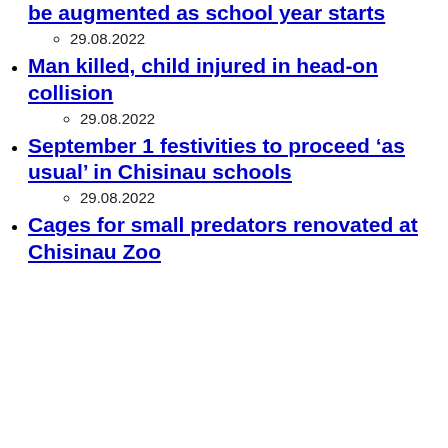be augmented as school year starts
29.08.2022
Man killed, child injured in head-on collision
29.08.2022
September 1 festivities to proceed ‘as usual’ in Chisinau schools
29.08.2022
Cages for small predators renovated at Chisinau Zoo